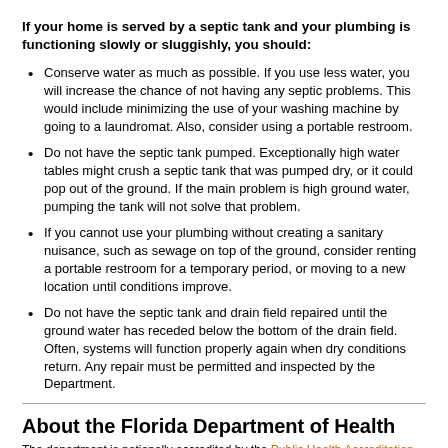If your home is served by a septic tank and your plumbing is functioning slowly or sluggishly, you should:
Conserve water as much as possible. If you use less water, you will increase the chance of not having any septic problems. This would include minimizing the use of your washing machine by going to a laundromat. Also, consider using a portable restroom.
Do not have the septic tank pumped. Exceptionally high water tables might crush a septic tank that was pumped dry, or it could pop out of the ground. If the main problem is high ground water, pumping the tank will not solve that problem.
If you cannot use your plumbing without creating a sanitary nuisance, such as sewage on top of the ground, consider renting a portable restroom for a temporary period, or moving to a new location until conditions improve.
Do not have the septic tank and drain field repaired until the ground water has receded below the bottom of the drain field. Often, systems will function properly again when dry conditions return. Any repair must be permitted and inspected by the Department.
About the Florida Department of Health
The department is nationally accredited by the Public Health Accreditation